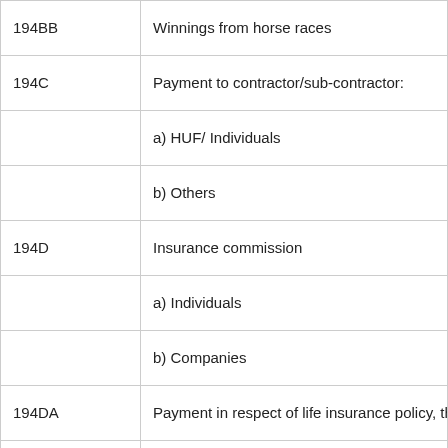| Section | Description |
| --- | --- |
| 194BB | Winnings from horse races |
| 194C | Payment to contractor/sub-contractor: |
|  | a) HUF/ Individuals |
|  | b) Others |
| 194D | Insurance commission |
|  | a) Individuals |
|  | b) Companies |
| 194DA | Payment in respect of life insurance policy, the ta |
| 194E | Payment to non-resident sportsmen/sports asso |
| 194EE | Payment in respect of deposit under National Sa |
| 194F | Payment on account of repurchase of unit by Mu |
| 194G | Commission on sale of lottery tickets |